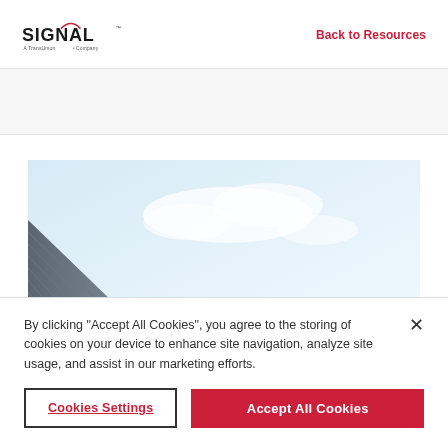[Figure (logo): Signal - A TransUnion Company logo with circular arc above the 'A' in Signal]
Back to Resources
[Figure (photo): Looking up at a modern building corner with diagonal metallic siding against a light blue cloudy sky]
By clicking "Accept All Cookies", you agree to the storing of cookies on your device to enhance site navigation, analyze site usage, and assist in our marketing efforts.
Cookies Settings
Accept All Cookies